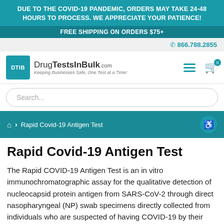DUE TO THE COVID-19 PANDEMIC, ORDERS MAY TAKE 24-48 HOURS TO PROCESS. WE APPRECIATE YOUR PATIENCE!
FREE SHIPPING ON ORDERS $75+
866.788.2855
[Figure (logo): DrugTestsInBulk.com logo with teal DTIB box and tagline 'Keeping Businesses Safe, One Test at a Time!']
Search...
Home > Rapid Covid-19 Antigen Test
Rapid Covid-19 Antigen Test
The Rapid COVID-19 Antigen Test is an in vitro immunochromatographic assay for the qualitative detection of nucleocapsid protein antigen from SARS-CoV-2 through direct nasopharyngeal (NP) swab specimens directly collected from individuals who are suspected of having COVID-19 by their healthcare professional. This test is